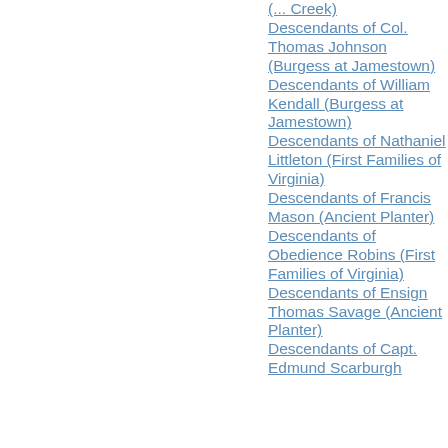(... Creek)
Descendants of Col. Thomas Johnson (Burgess at Jamestown)
Descendants of William Kendall (Burgess at Jamestown)
Descendants of Nathaniel Littleton (First Families of Virginia)
Descendants of Francis Mason (Ancient Planter)
Descendants of Obedience Robins (First Families of Virginia)
Descendants of Ensign Thomas Savage (Ancient Planter)
Descendants of Capt. Edmund Scarburgh